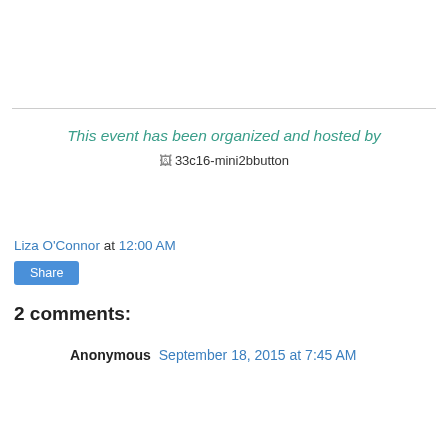This event has been organized and hosted by
[Figure (other): Broken image placeholder: 33c16-mini2bbutton]
Liza O'Connor at 12:00 AM
Share
2 comments:
Anonymous  September 18, 2015 at 7:45 AM